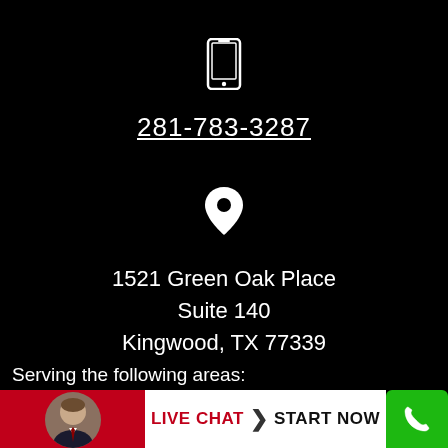[Figure (other): White smartphone/mobile phone icon on black background]
281-783-3287
[Figure (other): White map pin / location marker icon on black background]
1521 Green Oak Place
Suite 140
Kingwood, TX 77339
Serving the following areas:
[Figure (other): Bottom bar with red section containing man's headshot avatar, white section with LIVE CHAT > START NOW text in red and black, and green phone icon button on right]